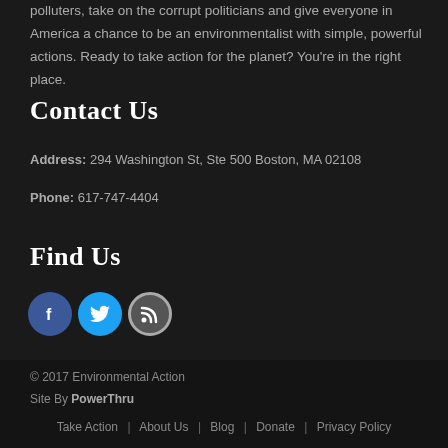polluters, take on the corrupt politicians and give everyone in America a chance to be an environmentalist with simple, powerful actions. Ready to take action for the planet? You're in the right place.
Contact Us
Address: 294 Washington St, Ste 500 Boston, MA 02108
Phone: 617-747-4404
Find Us
[Figure (illustration): Three social media icon circles: Facebook (dark blue with f), Twitter (light blue with bird), RSS (grey with wifi signal icon)]
© 2017 Environmental Action
Site By PowerThru
Take Action | About Us | Blog | Donate | Privacy Policy